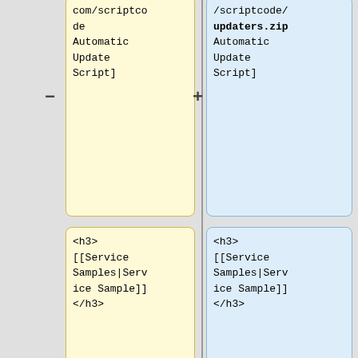[Figure (flowchart): Diff/comparison flowchart showing two columns of code/wiki markup boxes connected by minus and plus signs. Left column boxes are yellow, right column boxes are blue. Top pair shows wiki markup for scriptcode/Automatic Update Script. Middle pair shows h3 tags with Service Samples link. Lower pair shows URL links to melissadata and melissa.com name verification services. Bottom pair shows wiki template syntax.]